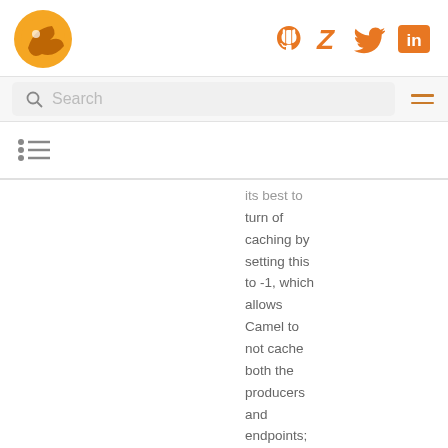[Figure (logo): Apache Camel orange bird logo]
[Figure (illustration): Social media icons: GitHub, Zulip, Twitter, LinkedIn — all in orange]
Search
[Figure (illustration): Hamburger menu icon, two orange lines]
[Figure (illustration): Table of contents icon, three lines with dots]
its best to turn of caching by setting this to -1, which allows Camel to not cache both the producers and endpoints; they are